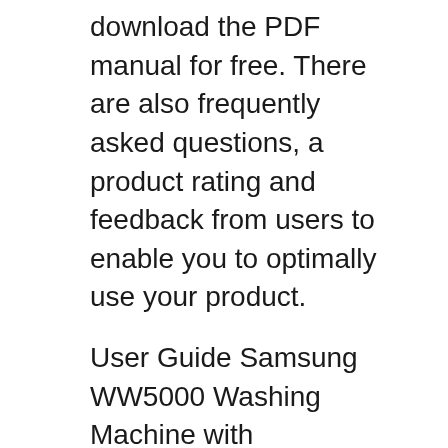download the PDF manual for free. There are also frequently asked questions, a product rating and feedback from users to enable you to optimally use your product.
User Guide Samsung WW5000 Washing Machine with ecobubbles„Ÿ, 8kg WW80J5555FX/EU - User Manuals PDF. User manuals file type: PDF. Samsung - Washers & Dryers WW8000 Washing Machine with ecobubbles„Ÿ, 12 kg. Solutions & Tips, Download Manual, Contact Us. Samsung Support UK
26/02/2017В В· Listen to world electronic music by Mantravine at: www.mantravine.com lim.net.c